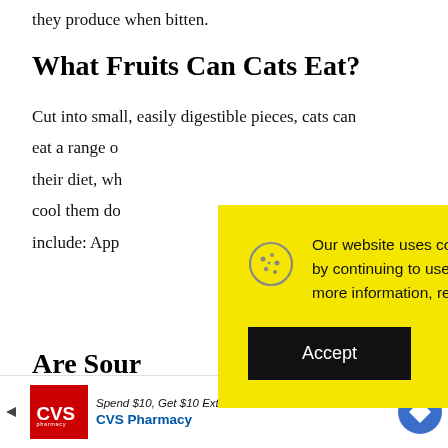they produce when bitten.
What Fruits Can Cats Eat?
Cut into small, easily digestible pieces, cats can eat a range of their diet, wh cool them do include: App
Our website uses cookies to provide you the best experience. However, by continuing to use our website, you agree to our use of cookies. For more information, read our Cookie Policy.
Are Sour
Spend $10, Get $10 ExtraBucks CVS Pharmacy